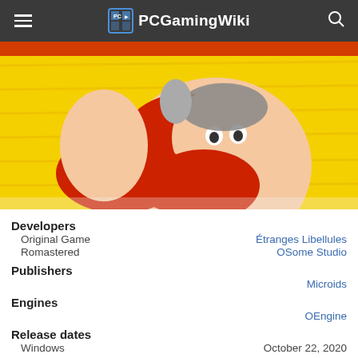PCGamingWiki
[Figure (screenshot): Game artwork showing Obelix character from Asterix & Obelix game, cartoon styled, yellow background with red hair character]
| Category | Sub-label | Value |
| --- | --- | --- |
| Developers |  |  |
|  | Original Game | Étranges Libellules |
|  | Romastered | OSome Studio |
| Publishers |  | Microids |
| Engines |  | OEngine |
| Release dates |  |  |
|  | Windows | October 22, 2020 |